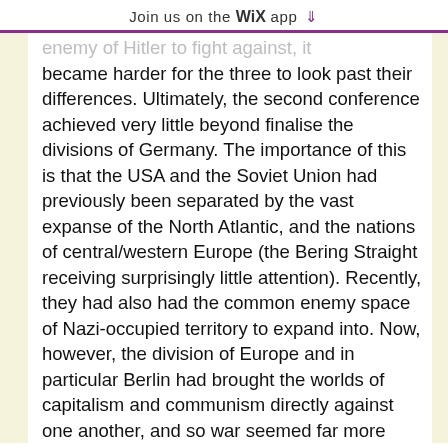Join us on the WiX app ↓
enemy of Hitler to fight against, it became harder for the three to look past their differences. Ultimately, the second conference achieved very little beyond finalise the divisions of Germany. The importance of this is that the USA and the Soviet Union had previously been separated by the vast expanse of the North Atlantic, and the nations of central/western Europe (the Bering Straight receiving surprisingly little attention). Recently, they had also had the common enemy space of Nazi-occupied territory to expand into. Now, however, the division of Europe and in particular Berlin had brought the worlds of capitalism and communism directly against one another, and so war seemed far more likely.